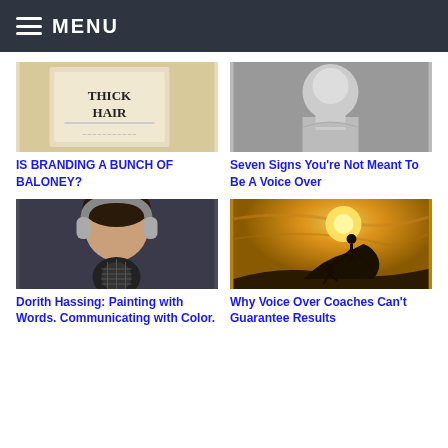MENU
[Figure (photo): Book or product with 'THICK HAIR' text on cover]
IS BRANDING A BUNCH OF BALONEY?
[Figure (photo): Black and white photo of person, seemingly a voice actor or speaker]
Seven Signs You're Not Meant To Be A Voice Over
[Figure (photo): Woman with headphones and microphone, voice over artist]
Dorith Hassing: Painting with Words. Communicating with Color.
[Figure (photo): Silhouette of two people on a cliff, one helping the other, golden sunset]
Why Voice Over Coaches Can't Guarantee Results